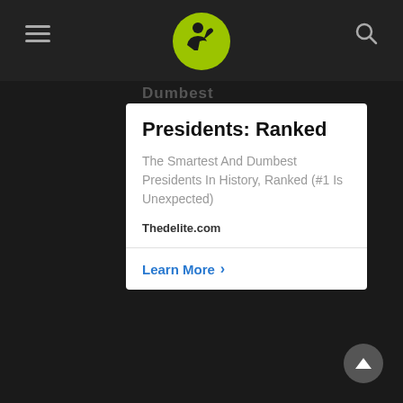[Figure (logo): Circular lime-green logo with a person flexing silhouette icon — website/brand logo in navigation bar]
Presidents: Ranked
The Smartest And Dumbest Presidents In History, Ranked (#1 Is Unexpected)
Thedelite.com
Learn More >